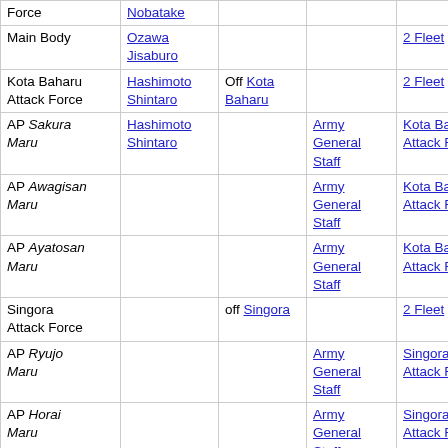| Force | Nobatake |  |  |  |
| Main Body | Ozawa Jisaburo |  |  | 2 Fleet |
| Kota Baharu Attack Force | Hashimoto Shintaro | Off Kota Baharu |  | 2 Fleet |
| AP Sakura Maru | Hashimoto Shintaro |  | Army General Staff | Kota Baharu Attack Force |
| AP Awagisan Maru |  |  | Army General Staff | Kota Baharu Attack Force |
| AP Ayatosan Maru |  |  | Army General Staff | Kota Baharu Attack Force |
| Singora Attack Force |  | off Singora |  | 2 Fleet |
| AP Ryujo Maru |  |  | Army General Staff | Singora Attack Force |
| AP Horai Maru |  |  | Army General Staff | Singora Attack Force |
| AK Taizan Maru |  |  | Army General Staff | Singora Attack Force |
| 3 Fleet | Takahashi Ibo | Magong | Combined Fleet |  |